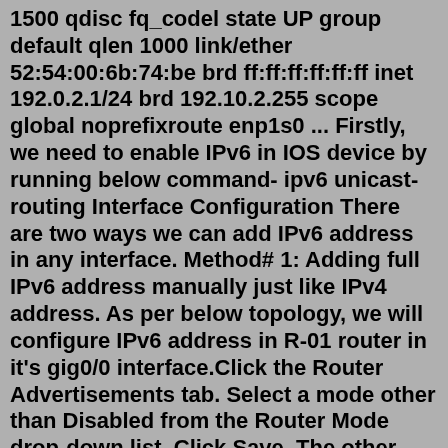1500 qdisc fq_codel state UP group default qlen 1000 link/ether 52:54:00:6b:74:be brd ff:ff:ff:ff:ff:ff inet 192.0.2.1/24 brd 192.10.2.255 scope global noprefixroute enp1s0 ... Firstly, we need to enable IPv6 in IOS device by running below command- ipv6 unicast-routing Interface Configuration There are two ways we can add IPv6 address in any interface. Method# 1: Adding full IPv6 address manually just like IPv4 address. As per below topology, we will configure IPv6 address in R-01 router in it's gig0/0 interface.Click the Router Advertisements tab. Select a mode other than Disabled from the Router Mode drop-down list. Click Save. The other options to control RA behavior may be set as needed for the network: Router Advertisement Modes. The modes for the RA daemon control the services offered by pfSense®, announce the firewall as an IPv6 router on the ...To disable IPV6 on Mac OS X, do the following 1. Open System Preferences and click the Network icon. 2. Select the network you are using - It will usually be labeled Wi-Fi. 3. Click the Advanced..